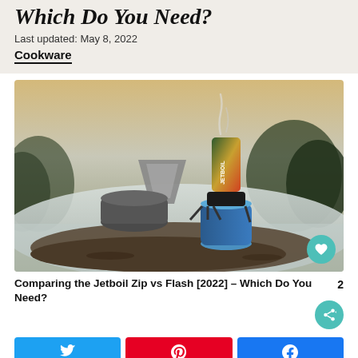Which Do You Need?
Last updated: May 8, 2022
Cookware
[Figure (photo): Outdoor camping scene showing a Jetboil Flash stove with a canister and a pour-over coffee setup on a snowy rocky surface, steam rising]
Comparing the Jetboil Zip vs Flash [2022] – Which Do You Need?